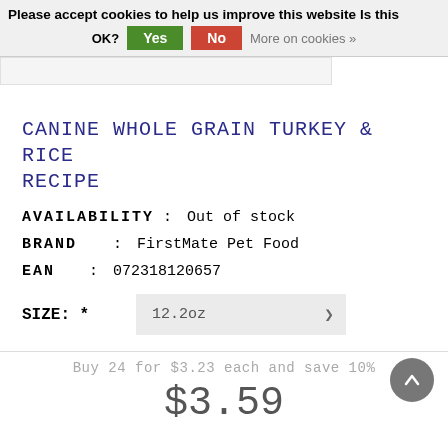Please accept cookies to help us improve this website Is this OK? Yes No More on cookies »
[Figure (other): Partial product image placeholder bar]
CANINE WHOLE GRAIN TURKEY & RICE RECIPE
AVAILABILITY : Out of stock
BRAND : FirstMate Pet Food
EAN : 072318120657
SIZE: * 12.2oz
Buy 24 for $3.23 each and save 10%
$3.59